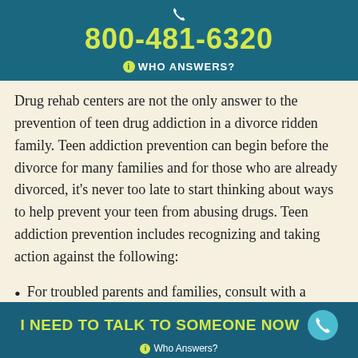800-481-6320 WHO ANSWERS?
Drug rehab centers are not the only answer to the prevention of teen drug addiction in a divorce ridden family. Teen addiction prevention can begin before the divorce for many families and for those who are already divorced, it's never too late to start thinking about ways to help prevent your teen from abusing drugs. Teen addiction prevention includes recognizing and taking action against the following:
For troubled parents and families, consult with a licensed marriage counselor or family therapist. Seek the help of a psychologist or a certified teen
I NEED TO TALK TO SOMEONE NOW Who Answers?